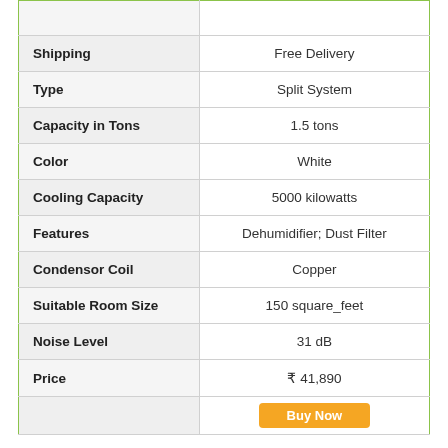| Attribute | Value |
| --- | --- |
|  |  |
| Shipping | Free Delivery |
| Type | Split System |
| Capacity in Tons | 1.5 tons |
| Color | White |
| Cooling Capacity | 5000 kilowatts |
| Features | Dehumidifier; Dust Filter |
| Condensor Coil | Copper |
| Suitable Room Size | 150 square_feet |
| Noise Level | 31 dB |
| Price | ₹ 41,890 |
|  |  |